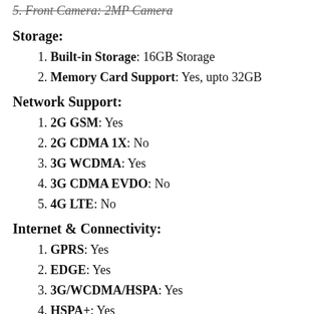5. Front Camera: 2MP Camera
Storage:
1. Built-in Storage: 16GB Storage
2. Memory Card Support: Yes, upto 32GB
Network Support:
1. 2G GSM: Yes
2. 2G CDMA 1X: No
3. 3G WCDMA: Yes
4. 3G CDMA EVDO: No
5. 4G LTE: No
Internet & Connectivity:
1. GPRS: Yes
2. EDGE: Yes
3. 3G/WCDMA/HSPA: Yes
4. HSPA+: Yes
5. CDMA EVDO: No